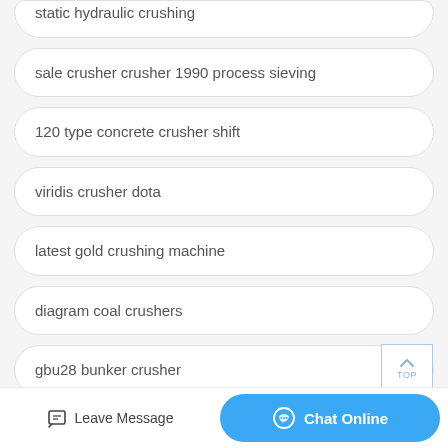static hydraulic crushing
sale crusher crusher 1990 process sieving
120 type concrete crusher shift
viridis crusher dota
latest gold crushing machine
diagram coal crushers
gbu28 bunker crusher
(partial, cut off)
Leave Message
Chat Online